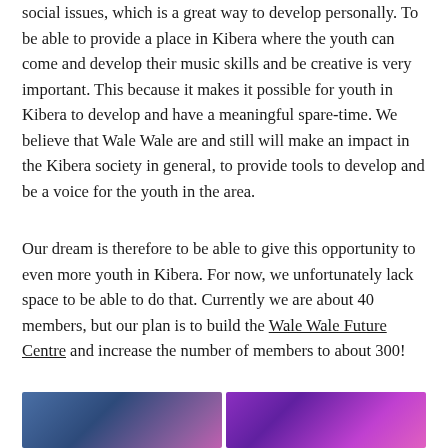social issues, which is a great way to develop personally. To be able to provide a place in Kibera where the youth can come and develop their music skills and be creative is very important. This because it makes it possible for youth in Kibera to develop and have a meaningful spare-time. We believe that Wale Wale are and still will make an impact in the Kibera society in general, to provide tools to develop and be a voice for the youth in the area.
Our dream is therefore to be able to give this opportunity to even more youth in Kibera. For now, we unfortunately lack space to be able to do that. Currently we are about 40 members, but our plan is to build the Wale Wale Future Centre and increase the number of members to about 300!
[Figure (photo): Partial view of two photo panels showing colorful lighting, likely from a music or performance event in Kibera, with purple and blue tones.]